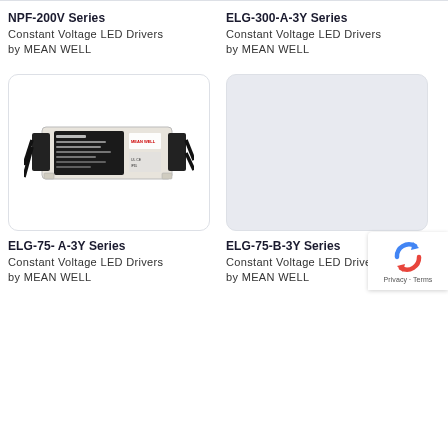NPF-200V Series
Constant Voltage LED Drivers by MEAN WELL
ELG-300-A-3Y Series
Constant Voltage LED Drivers by MEAN WELL
[Figure (photo): MEAN WELL ELG-75 LED driver power supply unit, white rectangular enclosure with black terminal blocks and cables]
[Figure (photo): Placeholder image box with light grey background]
ELG-75- A-3Y Series
Constant Voltage LED Drivers by MEAN WELL
ELG-75-B-3Y Series
Constant Voltage LED Drivers by MEAN WELL